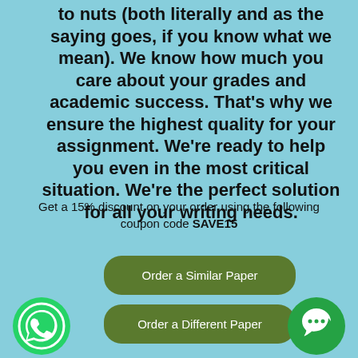to nuts (both literally and as the saying goes, if you know what we mean). We know how much you care about your grades and academic success. That's why we ensure the highest quality for your assignment. We're ready to help you even in the most critical situation. We're the perfect solution for all your writing needs.
Get a 15% discount on your order using the following coupon code SAVE15
Order a Similar Paper
Order a Different Paper
[Figure (logo): WhatsApp green logo icon at bottom left]
[Figure (logo): Green chat/message bubble icon at bottom right]